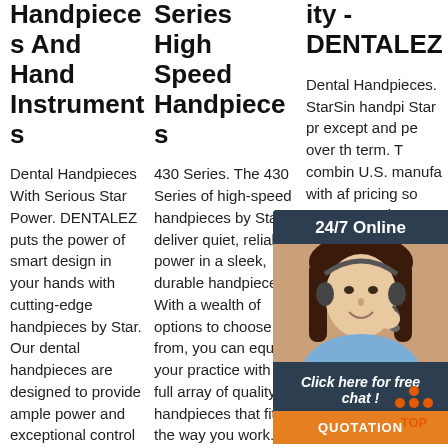Handpieces And Hand Instruments
Series High Speed Handpieces
ity - DENTALEZ
Dental Handpieces With Serious Star Power. DENTALEZ puts the power of smart design in your hands with cutting-edge handpieces by Star. Our dental handpieces are designed to provide ample power and exceptional control for fast, precise results in
430 Series. The 430 Series of high-speed handpieces by Star deliver quiet, reliable power in a sleek, durable handpiece. With a wealth of options to choose from, you can equip your practice with a full array of quality handpieces that fit the way you work. Our Star 430 Series
Dental Handpieces. StarSim handpi Star pr except and pe over th term. T combin U.S. manufa with af pricing so you can equip your entire practice or organization with reliable handpieces. Their slender designs
[Figure (photo): Customer service representative woman with headset smiling, overlay chat widget with '24/7 Online' header, 'Click here for free chat!' text, orange QUOTATION button]
[Figure (logo): Orange TOP arrow/dot logo icon at bottom right]